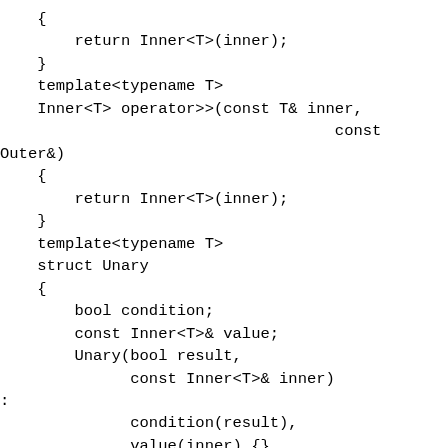{
        return Inner<T>(inner);
    }
    template<typename T>
    Inner<T> operator>>(const T& inner,
                                    const
Outer&)
    {
        return Inner<T>(inner);
    }
    template<typename T>
    struct Unary
    {
        bool condition;
        const Inner<T>& value;
        Unary(bool result,
              const Inner<T>& inner)
:
              condition(result),
              value(inner) {}
    }